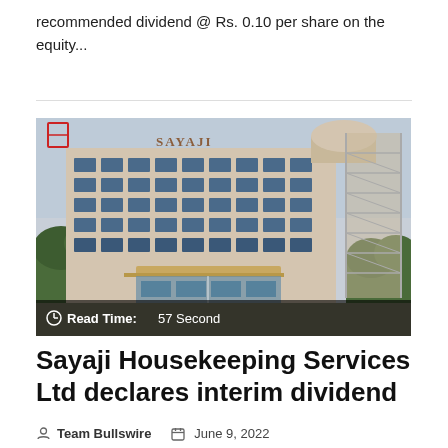recommended dividend @ Rs. 0.10 per share on the equity...
[Figure (photo): Exterior photo of Sayaji hotel building, a large multi-story commercial building with 'SAYAJI' signage on top, showing a scaffolded tower on the right side. Overlay reads: Read Time: 57 Second]
Sayaji Housekeeping Services Ltd declares interim dividend
Team Bullswire  June 9, 2022